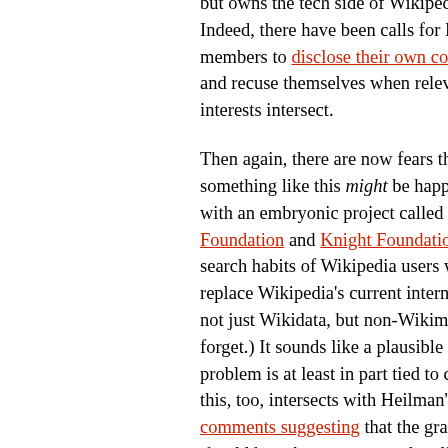but owns the tech side of Wikipedia). Indeed, there have been calls for Board members to disclose their own conflicts and recuse themselves when relevant interests intersect.

Then again, there are now fears that something like this might be happening with an embryonic project called Search Foundation and Knight Foundation joined to study search habits of Wikipedia users with an aim to replace Wikipedia's current internal search engine, not just Wikidata, but non-Wikimedia sources (don't forget.) It sounds like a plausible direction, but the problem is at least in part tied to concerns that this, too, intersects with Heilman's dismissal—comments suggesting that the grant— should have been announced earlier.

Other criticisms have come from former staff, whereby WMF accepted the "restricted" Gardner, Tretikov's predecessor. And...